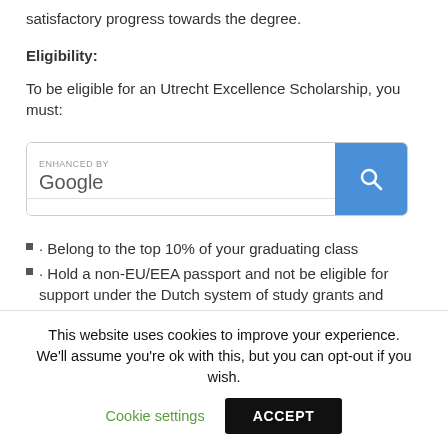satisfactory progress towards the degree.
Eligibility:
To be eligible for an Utrecht Excellence Scholarship, you must:
[Figure (other): Google enhanced search box with a blue search button]
Belong to the top 10% of your graduating class
Hold a non-EU/EEA passport and not be eligible for support under the Dutch system of study grants and
This website uses cookies to improve your experience. We'll assume you're ok with this, but you can opt-out if you wish.
Cookie settings   ACCEPT